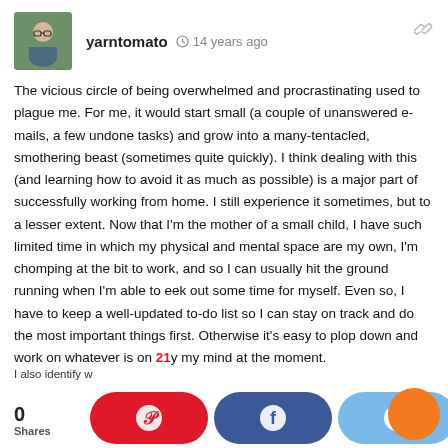[Figure (photo): User avatar photo of yarntomato — a woman with glasses]
yarntomato  ⊙  14 years ago
The vicious circle of being overwhelmed and procrastinating used to plague me. For me, it would start small (a couple of unanswered e-mails, a few undone tasks) and grow into a many-tentacled, smothering beast (sometimes quite quickly). I think dealing with this (and learning how to avoid it as much as possible) is a major part of successfully working from home. I still experience it sometimes, but to a lesser extent. Now that I'm the mother of a small child, I have such limited time in which my physical and mental space are my own, I'm chomping at the bit to work, and so I can usually hit the ground running when I'm able to eek out some time for myself. Even so, I have to keep a well-updated to-do list so I can stay on track and do the most important things first. Otherwise it's easy to plop down and work on whatever is on my my mind at the moment.
0
Shares
I also identify w
21